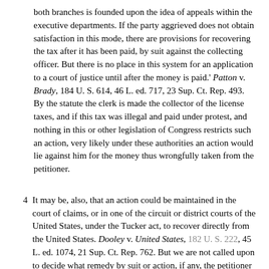both branches is founded upon the idea of appeals within the executive departments. If the party aggrieved does not obtain satisfaction in this mode, there are provisions for recovering the tax after it has been paid, by suit against the collecting officer. But there is no place in this system for an application to a court of justice until after the money is paid.' Patton v. Brady, 184 U. S. 614, 46 L. ed. 717, 23 Sup. Ct. Rep. 493. By the statute the clerk is made the collector of the license taxes, and if this tax was illegal and paid under protest, and nothing in this or other legislation of Congress restricts such an action, very likely under these authorities an action would lie against him for the money thus wrongfully taken from the petitioner.
4   It may be, also, that an action could be maintained in the court of claims, or in one of the circuit or district courts of the United States, under the Tucker act, to recover directly from the United States. Dooley v. United States, 182 U. S. 222, 45 L. ed. 1074, 21 Sup. Ct. Rep. 762. But we are not called upon to decide what remedy by suit or action, if any, the petitioner may have. It is enough now to hold, as we do, that this novel proceeding was not a suit or action in which a final decree or judgment was rendered from which the petitioner could take an appeal to this court.